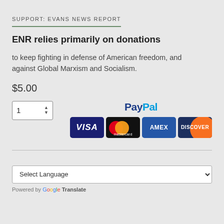SUPPORT: EVANS NEWS REPORT
ENR relies primarily on donations
to keep fighting in defense of American freedom, and against Global Marxism and Socialism.
$5.00
[Figure (other): Quantity input spinner showing value 1, alongside PayPal logo and credit card logos for Visa, Mastercard, AMEX, and Discover]
Select Language
Powered by Google Translate